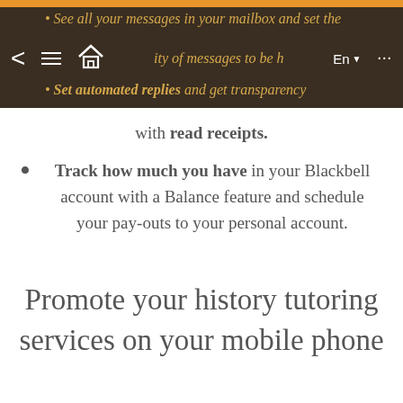See all your messages in your mailbox and set the priority of messages to be heard
Set automated replies and get transparency with read receipts.
Track how much you have in your Blackbell account with a Balance feature and schedule your pay-outs to your personal account.
Promote your history tutoring services on your mobile phone